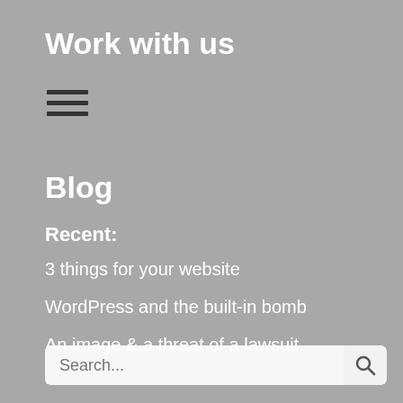Work with us
[Figure (other): Hamburger menu icon with three horizontal dark bars]
Blog
Recent:
3 things for your website
WordPress and the built-in bomb
An image & a threat of a lawsuit
Search...